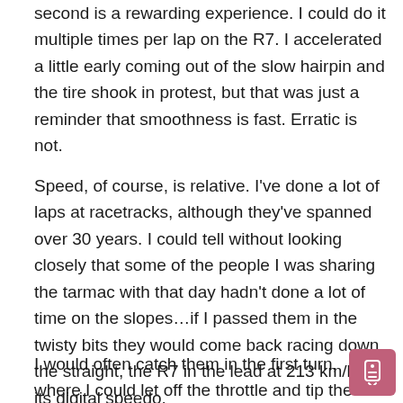second is a rewarding experience. I could do it multiple times per lap on the R7. I accelerated a little early coming out of the slow hairpin and the tire shook in protest, but that was just a reminder that smoothness is fast. Erratic is not.
Speed, of course, is relative. I've done a lot of laps at racetracks, although they've spanned over 30 years. I could tell without looking closely that some of the people I was sharing the tarmac with that day hadn't done a lot of time on the slopes…if I passed them in the twisty bits they would come back racing down the straight, the R7 in the lead at 213 km/h on its digital speedo.
I would often catch them in the first turn, where I could let off the throttle and tip the lightweight